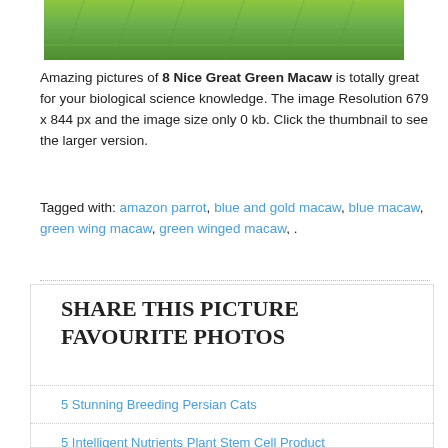[Figure (photo): Close-up photo of a Great Green Macaw showing bright green feathers at the top of the page]
Amazing pictures of 8 Nice Great Green Macaw is totally great for your biological science knowledge. The image Resolution 679 x 844 px and the image size only 0 kb. Click the thumbnail to see the larger version.
Tagged with: amazon parrot, blue and gold macaw, blue macaw, green wing macaw, green winged macaw, .
SHARE THIS PICTURE FAVOURITE PHOTOS
5 Stunning Breeding Persian Cats
5 Intelligent Nutrients Plant Stem Cell Product
7 Cute Peekapoo Puppies For Sale In Pa
7 Picture About How To Teach Biology